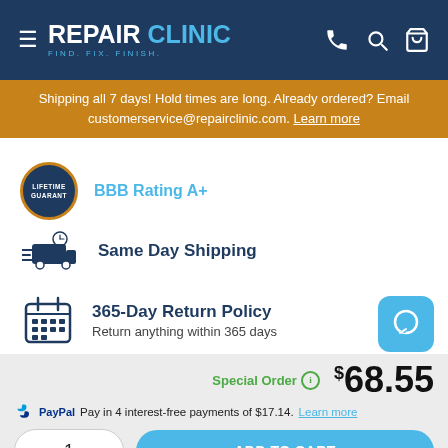REPAIR CLINIC — FIND. FIX. FINISH.
Shipping all 7 days! Hold times are long. Already ordered? Email customerservice@repairclinic.com. Learn more
BBB Rating A+
Same Day Shipping
365-Day Return Policy — Return anything within 365 days
Special Order  $68.55
PayPal Pay in 4 interest-free payments of $17.14. Learn more
1   ADD TO CART